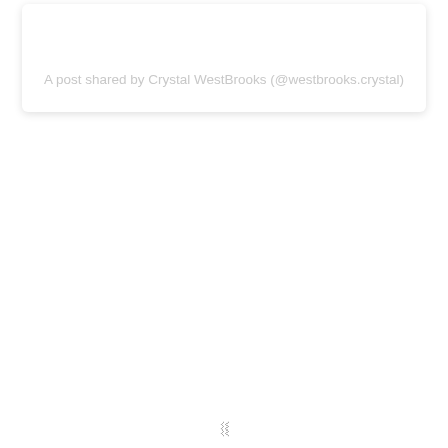A post shared by Crystal WestBrooks (@westbrooks.crystal)
❯